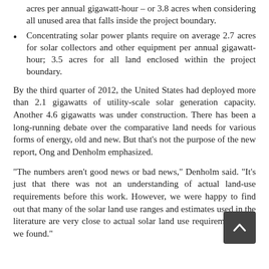acres per annual gigawatt-hour – or 3.8 acres when considering all unused area that falls inside the project boundary.
Concentrating solar power plants require on average 2.7 acres for solar collectors and other equipment per annual gigawatt-hour; 3.5 acres for all land enclosed within the project boundary.
By the third quarter of 2012, the United States had deployed more than 2.1 gigawatts of utility-scale solar generation capacity. Another 4.6 gigawatts was under construction. There has been a long-running debate over the comparative land needs for various forms of energy, old and new. But that's not the purpose of the new report, Ong and Denholm emphasized.
“The numbers aren’t good news or bad news,” Denholm said. “It’s just that there was not an understanding of actual land-use requirements before this work. However, we were happy to find out that many of the solar land use ranges and estimates used in the literature are very close to actual solar land use requirements that we found.”